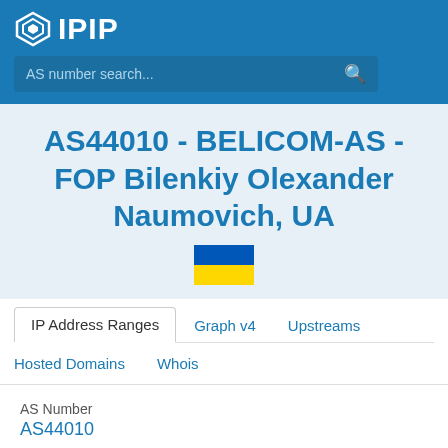[Figure (logo): IPIP logo with diamond icon in white on blue header background]
AS number search...
AS44010 - BELICOM-AS - FOP Bilenkiy Olexander Naumovich, UA
[Figure (illustration): Ukrainian flag (blue top half, yellow bottom half)]
IP Address Ranges
Graph v4
Upstreams
Hosted Domains
Whois
AS Number
AS44010
AS Name